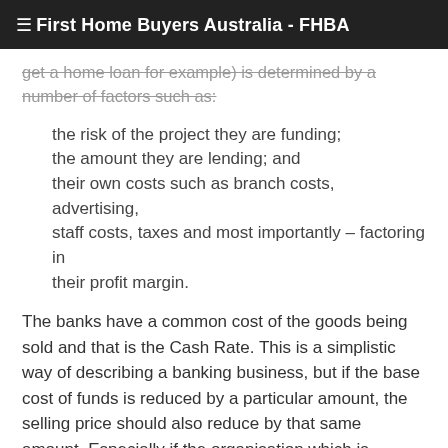≡ First Home Buyers Australia - FHBA
get a home loan for example) is determined by a number of factors such as:
the risk of the project they are funding;
the amount they are lending; and
their own costs such as branch costs, advertising, staff costs, taxes and most importantly – factoring in their profit margin.
The banks have a common cost of the goods being sold and that is the Cash Rate. This is a simplistic way of describing a banking business, but if the base cost of funds is reduced by a particular amount, the selling price should also reduce by that same amount. Especially if the organisation which is responsible for determining the health of the economy from a monetary policy perspective (the RBA) says the base